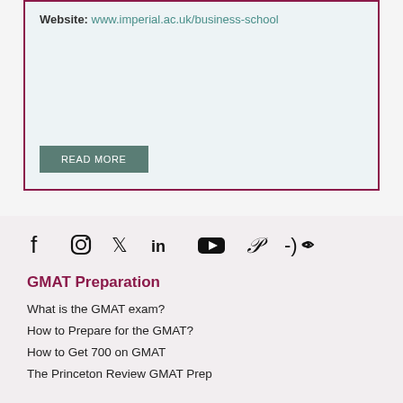Website: www.imperial.ac.uk/business-school
READ MORE
[Figure (other): Social media icons: Facebook, Instagram, Twitter, LinkedIn, YouTube, Pinterest, and a podcast/feed icon]
GMAT Preparation
What is the GMAT exam?
How to Prepare for the GMAT?
How to Get 700 on GMAT
The Princeton Review GMAT Prep